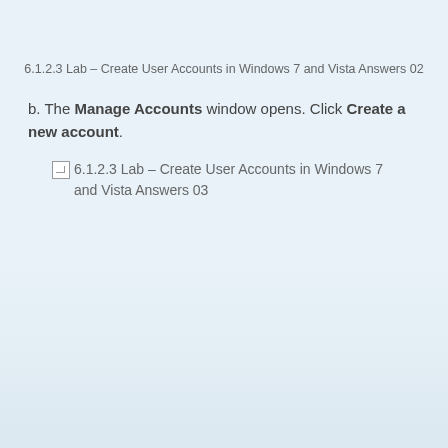6.1.2.3 Lab – Create User Accounts in Windows 7 and Vista Answers 02
b. The Manage Accounts window opens. Click Create a new account.
[Figure (screenshot): Broken image placeholder for screenshot labeled '6.1.2.3 Lab – Create User Accounts in Windows 7 and Vista Answers 03']